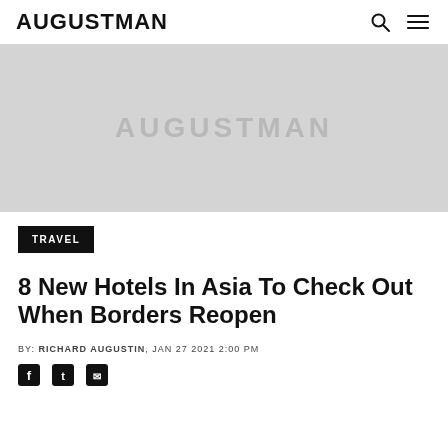AUGUSTMAN
[Figure (photo): Hero image placeholder with AUGUSTMAN watermark on grey background]
TRAVEL
8 New Hotels In Asia To Check Out When Borders Reopen
BY: RICHARD AUGUSTIN, JAN 27 2021 2:00 PM